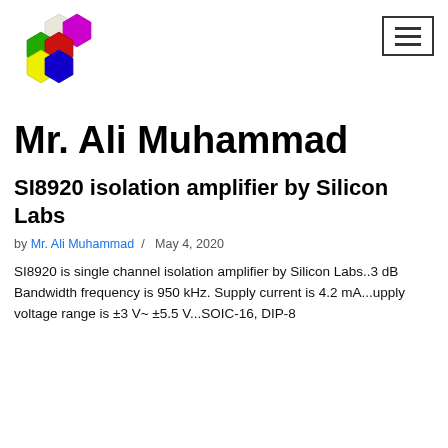[Figure (logo): Colorful honeycomb hexagon logo with multiple colored hexagons (white, magenta, green, red, yellow, blue)]
Mr. Ali Muhammad
SI8920 isolation amplifier by Silicon Labs
by Mr. Ali Muhammad / May 4, 2020
SI8920 is single channel isolation amplifier by Silicon Labs..3 dB Bandwidth frequency is 950 kHz. Supply current is 4.2 mA...upply voltage range is ±3 V~ ±5.5 V...SOIC-16, DIP-8